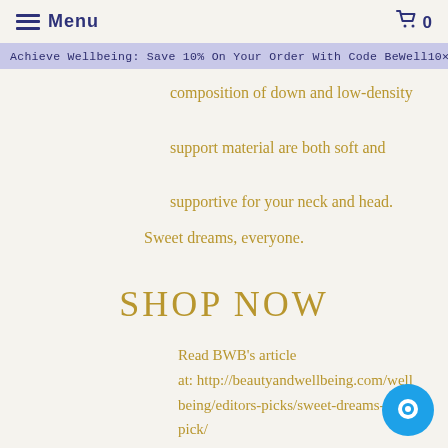≡ Menu  🛒 0
Achieve Wellbeing: Save 10% On Your Order With Code BeWell10 ✕
composition of down and low-density support material are both soft and supportive for your neck and head.
Sweet dreams, everyone.
SHOP NOW
Read BWB's article at: http://beautyandwellbeing.com/wellbeing/editors-picks/sweet-dreams-ed-pick/